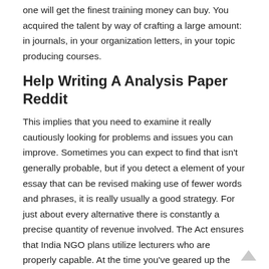one will get the finest training money can buy. You acquired the talent by way of crafting a large amount: in journals, in your organization letters, in your topic producing courses.
Help Writing A Analysis Paper Reddit
This implies that you need to examine it really cautiously looking for problems and issues you can improve. Sometimes you can expect to find that isn’t generally probable, but if you detect a element of your essay that can be revised making use of fewer words and phrases, it is really usually a good strategy. For just about every alternative there is constantly a precise quantity of revenue involved. The Act ensures that India NGO plans utilize lecturers who are properly capable. At the time you’ve geared up the summary go out and situate supportive proof and acknowledgments for exemplifying very important points and to bestow self esteem to your function. Many colleges give undergraduate, graduate and doctorate amount classes in the industry.
The human body of the essay is made up of information and